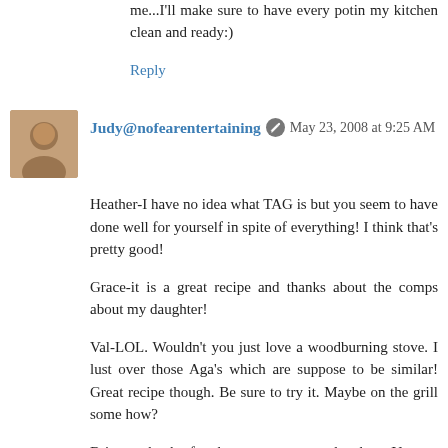me...I'll make sure to have every potin my kitchen clean and ready:)
Reply
Judy@nofearentertaining  May 23, 2008 at 9:25 AM
Heather-I have no idea what TAG is but you seem to have done well for yourself in spite of everything! I think that's pretty good!
Grace-it is a great recipe and thanks about the comps about my daughter!
Val-LOL. Wouldn't you just love a woodburning stove. I lust over those Aga's which are suppose to be similar! Great recipe though. Be sure to try it. Maybe on the grill some how?
Brittany-thanks for the comps on my daughter. Yes get those pots prepared. Also be sure diapers are changed, pets outside, and kids are quietly watching tv. My lack of preparedness on those levels always screws me up!